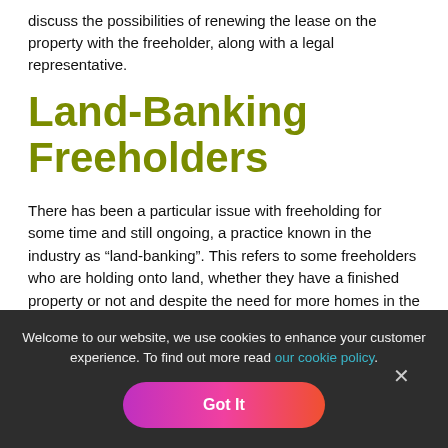discuss the possibilities of renewing the lease on the property with the freeholder, along with a legal representative.
Land-Banking Freeholders
There has been a particular issue with freeholding for some time and still ongoing, a practice known in the industry as “land-banking”. This refers to some freeholders who are holding onto land, whether they have a finished property or not and despite the need for more homes in the UK, purely because the market has changed and they’re waiting for a chance to make more money on it.
Welcome to our website, we use cookies to enhance your customer experience. To find out more read our cookie policy.